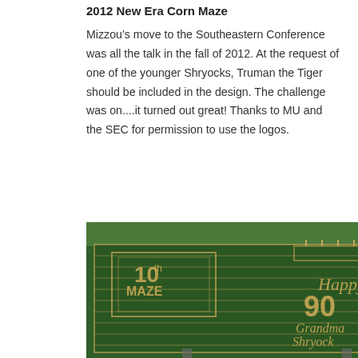2012 New Era Corn Maze
Mizzou’s move to the Southeastern Conference was all the talk in the fall of 2012. At the request of one of the younger Shryocks, Truman the Tiger should be included in the design. The challenge was on....it turned out great! Thanks to MU and the SEC for permission to use the logos.
[Figure (photo): Aerial photograph of a corn maze design reading '10th Maze' on the left and 'Happy 90 Grandma Shryock' with a portrait face in the center-right, set in a green agricultural field with paths mown into the corn.]